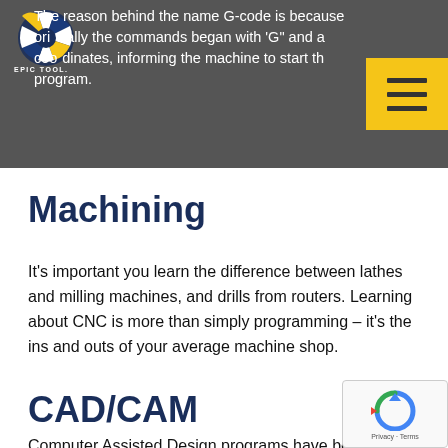The reason behind the name G-code is because originally the commands began with 'G" and a coordinates, informing the machine to start the program.
Machining
It's important you learn the difference between lathes and milling machines, and drills from routers. Learning about CNC is more than simply programming – it's the ins and outs of your average machine shop.
CAD/CAM
Computer Assisted Design programs have been